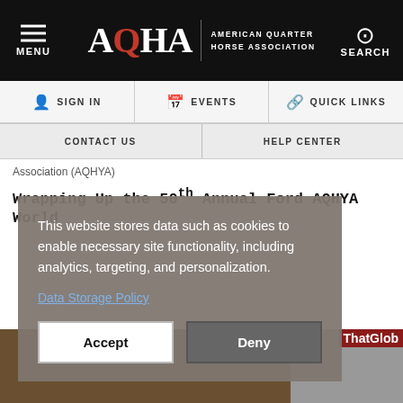MENU | AQHA AMERICAN QUARTER HORSE ASSOCIATION | SEARCH
SIGN IN
EVENTS
QUICK LINKS
CONTACT US
HELP CENTER
Association (AQHYA)
Wrapping Up the 50th Annual Ford AQHYA World
This website stores data such as cookies to enable necessary site functionality, including analytics, targeting, and personalization.

Data Storage Policy
[Figure (screenshot): Cookie consent overlay with Accept and Deny buttons over a webpage about AQHYA World event]